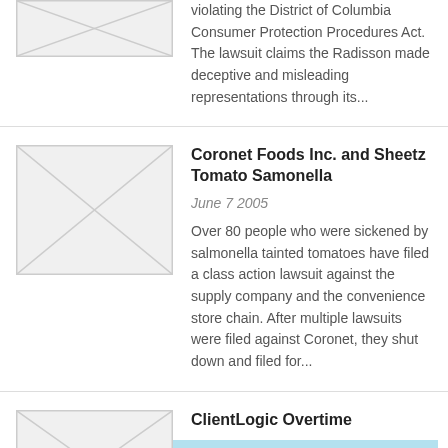violating the District of Columbia Consumer Protection Procedures Act. The lawsuit claims the Radisson made deceptive and misleading representations through its...
[Figure (illustration): Placeholder thumbnail image with X through it]
Coronet Foods Inc. and Sheetz Tomato Samonella
June 7 2005
Over 80 people who were sickened by salmonella tainted tomatoes have filed a class action lawsuit against the supply company and the convenience store chain. After multiple lawsuits were filed against Coronet, they shut down and filed for...
[Figure (illustration): Placeholder thumbnail image with X through it]
ClientLogic Overtime
[Figure (illustration): Placeholder thumbnail image with X through it]
Request Legal Help